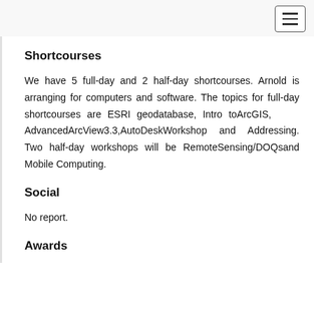Shortcourses
We have 5 full-day and 2 half-day shortcourses. Arnold is arranging for computers and software. The topics for full-day shortcourses are ESRI geodatabase, Intro toArcGIS, AdvancedArcView3.3,AutoDeskWorkshop and Addressing. Two half-day workshops will be RemoteSensing/DOQsand Mobile Computing.
Social
No report.
Awards